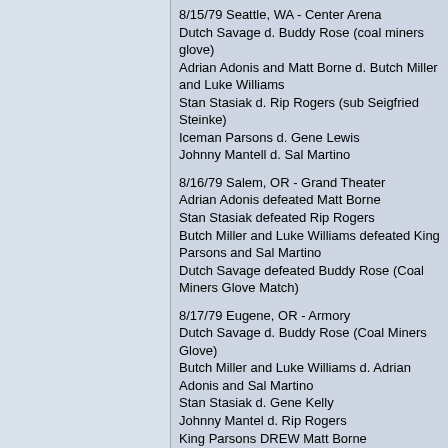8/15/79 Seattle, WA - Center Arena
Dutch Savage d. Buddy Rose (coal miners glove)
Adrian Adonis and Matt Borne d. Butch Miller and Luke Williams
Stan Stasiak d. Rip Rogers (sub Seigfried Steinke)
Iceman Parsons d. Gene Lewis
Johnny Mantell d. Sal Martino
8/16/79 Salem, OR - Grand Theater
Adrian Adonis defeated Matt Borne
Stan Stasiak defeated Rip Rogers
Butch Miller and Luke Williams defeated King Parsons and Sal Martino
Dutch Savage defeated Buddy Rose (Coal Miners Glove Match)
8/17/79 Eugene, OR - Armory
Dutch Savage d. Buddy Rose (Coal Miners Glove)
Butch Miller and Luke Williams d. Adrian Adonis and Sal Martino
Stan Stasiak d. Gene Kelly
Johnny Mantel d. Rip Rogers
King Parsons DREW Matt Borne
--Johnny Eagles referee--
8/18/79 Portland, OR - Sports Arena
Sheepherders beat Dutch Savage & Sal Martino
Buddy Rose drew Adrian Adonis
Matt Borne beat Rip Rogers dq
Johnny Mantell drew King Parsons
Stan Stasiak beat Gene Kelly
8/19/79 Astoria, OR
Stan Stasiak & Adrian Adonis beat Sheepherders